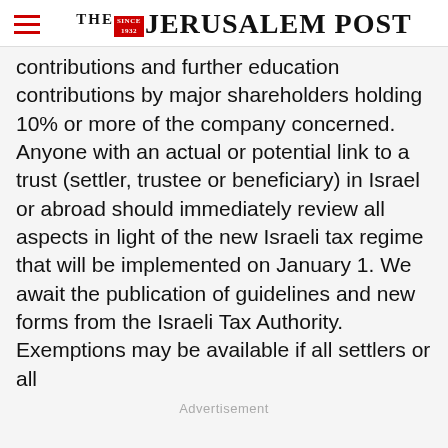THE JERUSALEM POST
contributions and further education contributions by major shareholders holding 10% or more of the company concerned. Anyone with an actual or potential link to a trust (settler, trustee or beneficiary) in Israel or abroad should immediately review all aspects in light of the new Israeli tax regime that will be implemented on January 1. We await the publication of guidelines and new forms from the Israeli Tax Authority. Exemptions may be available if all settlers or all
Advertisement